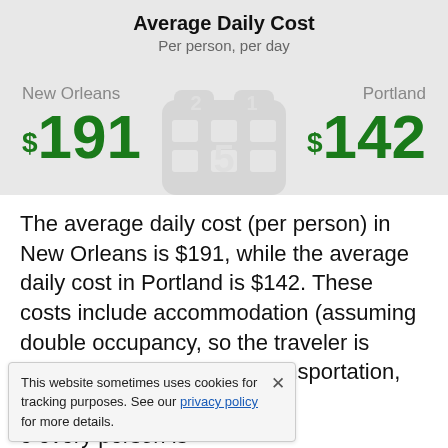Average Daily Cost
Per person, per day
New Orleans $191   Portland $142
The average daily cost (per person) in New Orleans is $191, while the average daily cost in Portland is $142. These costs include accommodation (assuming double occupancy, so the traveler is sharing the room), food, transportation, and entertainment. every person is ... are an average of past ... What follows is a
This website sometimes uses cookies for tracking purposes. See our privacy policy for more details.